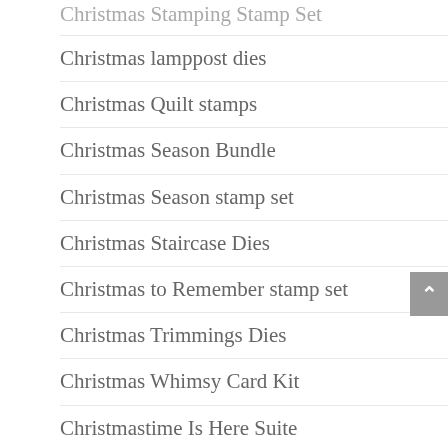Christmas Stamping Stamp Set
Christmas lamppost dies
Christmas Quilt stamps
Christmas Season Bundle
Christmas Season stamp set
Christmas Staircase Dies
Christmas to Remember stamp set
Christmas Trimmings Dies
Christmas Whimsy Card Kit
Christmastime Is Here Suite